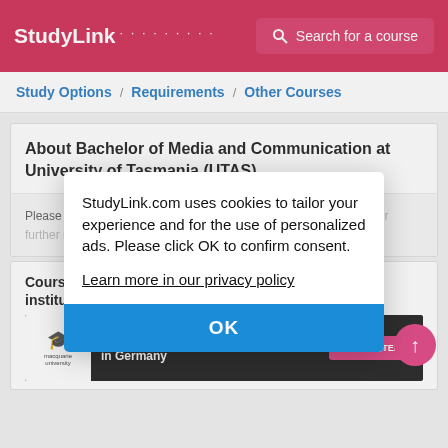StudyLink | Search for a course
Study Options / Requirements / Other Courses
About Bachelor of Media and Communication at University of Tasmania (UTAS)
Please visit the Bachelor of Media and Communication web page for further information.
Courses you may be interested in at other institutions
[Figure (screenshot): Ad banner for Bachelor & Master in Germany at Macquarie University with GET STARTED > button]
StudyLink.com uses cookies to tailor your experience and for the use of personalized ads. Please click OK to confirm consent.
Learn more in our privacy policy
OK